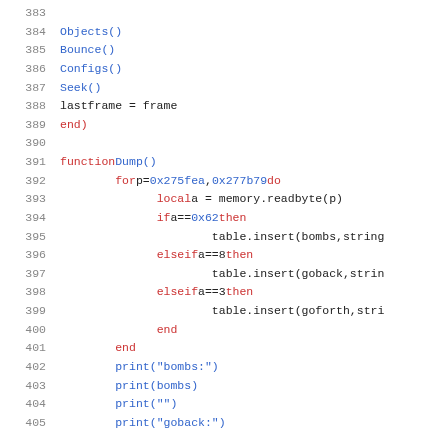Source code lines 383-405, Lua programming language snippet showing Objects(), Bounce(), Configs(), Seek(), lastframe = frame, end, function Dump(), for loop, local a = memory.readbyte(p), if/elseif conditions with table.insert calls, end, print statements